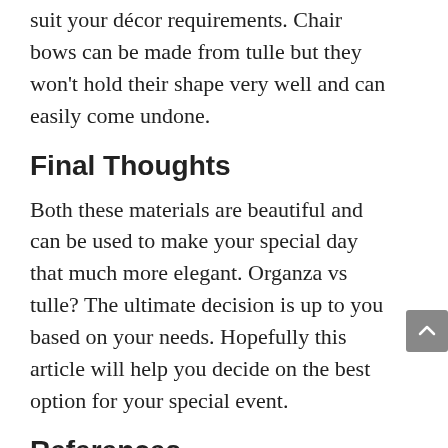suit your décor requirements. Chair bows can be made from tulle but they won't hold their shape very well and can easily come undone.
Final Thoughts
Both these materials are beautiful and can be used to make your special day that much more elegant. Organza vs tulle? The ultimate decision is up to you based on your needs. Hopefully this article will help you decide on the best option for your special event.
References